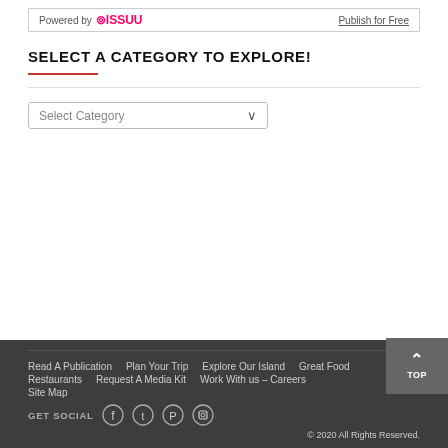Powered by ISSUU | Publish for Free
SELECT A CATEGORY TO EXPLORE!
Select Category
Read A Publication
Plan Your Trip
Explore Our Island
Great Food
Restaurants
Request A Media Kit
Work With us – Careers
Site Map
GET SOCIAL
© 2020 All Rights Reserved.